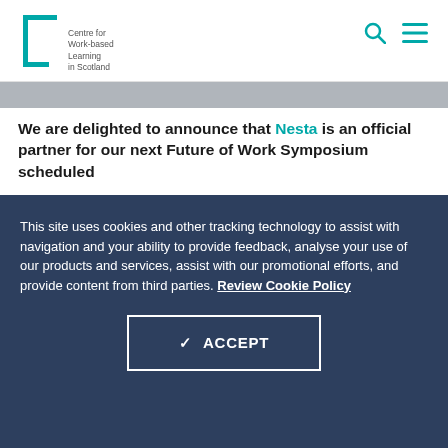[Figure (logo): Centre for Work-based Learning in Scotland logo with teal bracket and text]
We are delighted to announce that Nesta is an official partner for our next Future of Work Symposium scheduled
This site uses cookies and other tracking technology to assist with navigation and your ability to provide feedback, analyse your use of our products and services, assist with our promotional efforts, and provide content from third parties. Review Cookie Policy
✓ ACCEPT